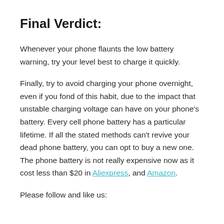Final Verdict:
Whenever your phone flaunts the low battery warning, try your level best to charge it quickly.
Finally, try to avoid charging your phone overnight, even if you fond of this habit, due to the impact that unstable charging voltage can have on your phone's battery. Every cell phone battery has a particular lifetime. If all the stated methods can't revive your dead phone battery, you can opt to buy a new one. The phone battery is not really expensive now as it cost less than $20 in Aliexpress, and Amazon.
Please follow and like us: